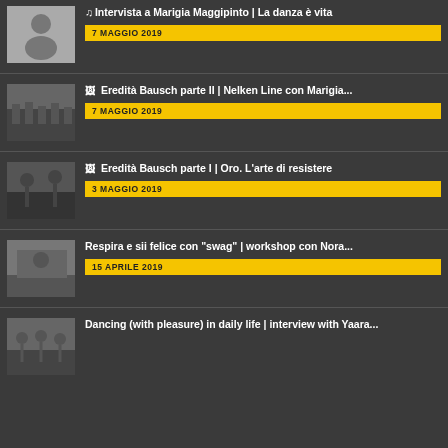♫ Intervista a Marigia Maggipinto | La danza è vita — 7 MAGGIO 2019
🖼 Eredità Bausch parte II | Nelken Line con Marigia... — 7 MAGGIO 2019
🖼 Eredità Bausch parte I | Oro. L'arte di resistere — 3 MAGGIO 2019
Respira e sii felice con "swag" | workshop con Nora... — 15 APRILE 2019
Dancing (with pleasure) in daily life | interview with Yaara...